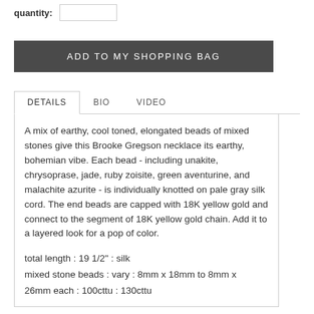quantity: 1
ADD TO MY SHOPPING BAG
DETAILS | BIO | VIDEO
A mix of earthy, cool toned, elongated beads of mixed stones give this Brooke Gregson necklace its earthy, bohemian vibe. Each bead - including unakite, chrysoprase, jade, ruby zoisite, green aventurine, and malachite azurite - is individually knotted on pale gray silk cord. The end beads are capped with 18K yellow gold and connect to the segment of 18K yellow gold chain. Add it to a layered look for a pop of color.
total length : 19 1/2" : silk
mixed stone beads : vary : 8mm x 18mm to 8mm x 26mm each : 100cttu : 130cttu